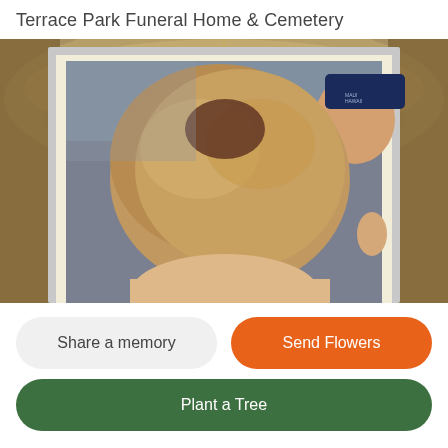Terrace Park Funeral Home & Cemetery
[Figure (photo): A framed photograph showing a close-up of a person with light brown/blonde hair, partially cropped. Behind them is another person wearing a dark blue cap. The frame is silver/white with a cream mat border. The background shows a decorative metallic/bronze circular design.]
Share a memory
Send Flowers
Plant a Tree